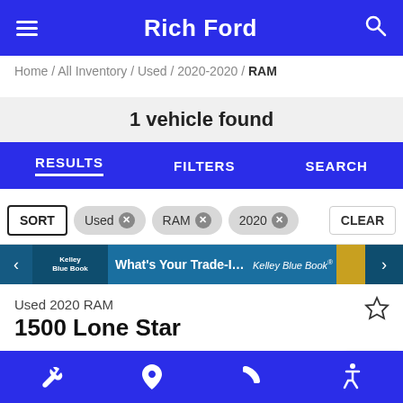Rich Ford
Home / All Inventory / Used / 2020-2020 / RAM
1 vehicle found
RESULTS  FILTERS  SEARCH
SORT  Used ✕  RAM ✕  2020 ✕  CLEAR
[Figure (screenshot): Kelley Blue Book trade-in banner: What's Your Trade-In Worth?]
Used 2020 RAM
1500 Lone Star
[Figure (photo): Partial view of a dark-colored RAM 1500 truck]
Bottom navigation: wrench, location pin, phone, accessibility icons